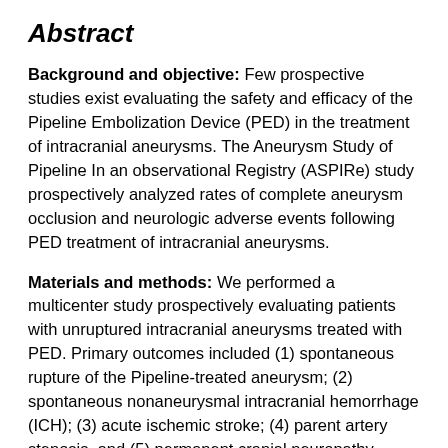Abstract
Background and objective: Few prospective studies exist evaluating the safety and efficacy of the Pipeline Embolization Device (PED) in the treatment of intracranial aneurysms. The Aneurysm Study of Pipeline In an observational Registry (ASPIRe) study prospectively analyzed rates of complete aneurysm occlusion and neurologic adverse events following PED treatment of intracranial aneurysms.
Materials and methods: We performed a multicenter study prospectively evaluating patients with unruptured intracranial aneurysms treated with PED. Primary outcomes included (1) spontaneous rupture of the Pipeline-treated aneurysm; (2) spontaneous nonaneurysmal intracranial hemorrhage (ICH); (3) acute ischemic stroke; (4) parent artery stenosis, and (5) permanent cranial neuropathy. Secondary endpoints were (1) treatment success and (2) morbidity and